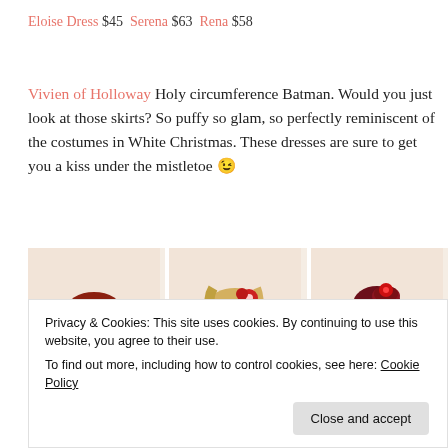Eloise Dress $45  Serena $63  Rena $58
Vivien of Holloway Holy circumference Batman. Would you just look at those skirts? So puffy so glam, so perfectly reminiscent of the costumes in White Christmas. These dresses are sure to get you a kiss under the mistletoe 😉
[Figure (photo): Three vintage pin-up style models in colourful dresses against a light beige background]
Privacy & Cookies: This site uses cookies. By continuing to use this website, you agree to their use.
To find out more, including how to control cookies, see here: Cookie Policy